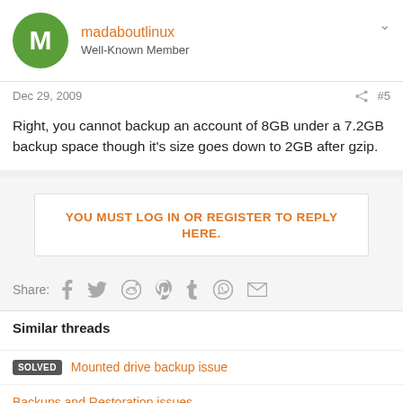M
madaboutlinux
Well-Known Member
Dec 29, 2009  #5
Right, you cannot backup an account of 8GB under a 7.2GB backup space though it's size goes down to 2GB after gzip.
YOU MUST LOG IN OR REGISTER TO REPLY HERE.
Share:
Similar threads
SOLVED  Mounted drive backup issue
Backups and Restoration issues.